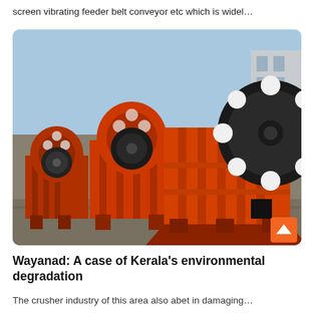screen vibrating feeder belt conveyor etc which is widel…
[Figure (photo): Row of large orange industrial jaw crushers with black flywheels, photographed outdoors in a manufacturing yard with a building in the background and a partly cloudy sky.]
Wayanad: A case of Kerala's environmental degradation
The crusher industry of this area also abet in damaging…